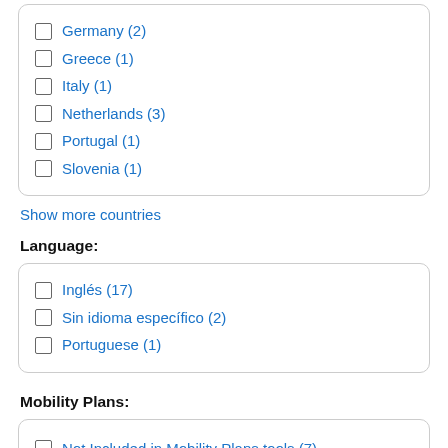Germany (2)
Greece (1)
Italy (1)
Netherlands (3)
Portugal (1)
Slovenia (1)
Show more countries
Language:
Inglés (17)
Sin idioma específico (2)
Portuguese (1)
Mobility Plans:
Not Included in Mobility Plans tools (7)